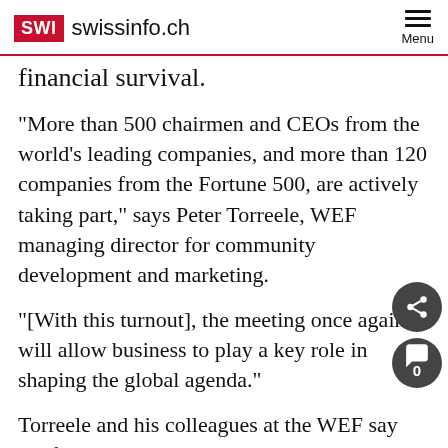SWI swissinfo.ch  Menu
financial survival.
“More than 500 chairmen and CEOs from the world’s leading companies, and more than 120 companies from the Fortune 500, are actively taking part,” says Peter Torreele, WEF managing director for community development and marketing.
“[With this turnout], the meeting once again will allow business to play a key role in shaping the global agenda.”
Torreele and his colleagues at the WEF say the focus is deliberate. They believe the only way